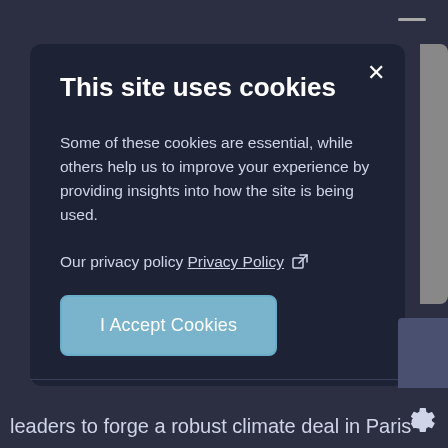This site uses cookies
Some of these cookies are essential, while others help us to improve your experience by providing insights into how the site is being used.
Our privacy policy Privacy Policy ↗
I Accept Cookies
leaders to forge a robust climate deal in Paris